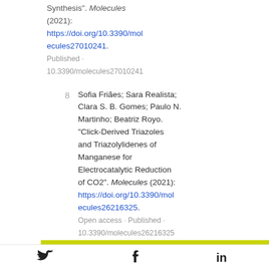Synthesis". Molecules (2021): https://doi.org/10.3390/molecules27010241. Published · 10.3390/molecules27010241
8  Sofia Friães; Sara Realista; Clara S. B. Gomes; Paulo N. Martinho; Beatriz Royo. "Click-Derived Triazoles and Triazolylidenes of Manganese for Electrocatalytic Reduction of CO2". Molecules (2021): https://doi.org/10.3390/molecules26216325. Open access · Published · 10.3390/molecules26216325
[Twitter] [Facebook] [LinkedIn]